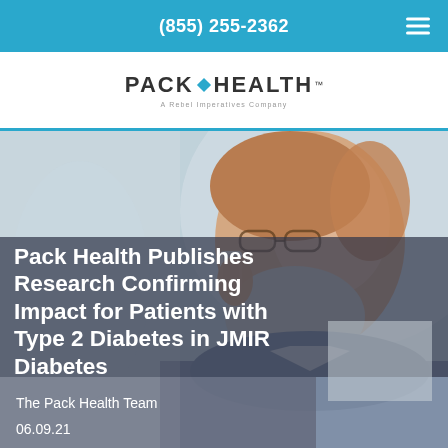(855) 255-2362
[Figure (logo): Pack Health logo with teal diamond icon and tagline 'A Rebel Imperatives Company']
[Figure (photo): Elderly man with white beard talking on a phone, wearing a grey-blue jacket, blurred background]
Pack Health Publishes Research Confirming Impact for Patients with Type 2 Diabetes in JMIR Diabetes
The Pack Health Team
06.09.21
ALL NEWS IN THE NEWS